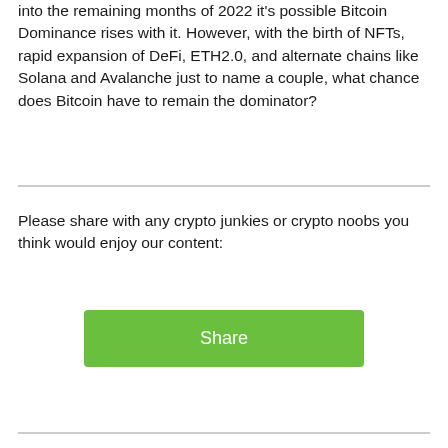into the remaining months of 2022 it's possible Bitcoin Dominance rises with it. However, with the birth of NFTs, rapid expansion of DeFi, ETH2.0, and alternate chains like Solana and Avalanche just to name a couple, what chance does Bitcoin have to remain the dominator?
Please share with any crypto junkies or crypto noobs you think would enjoy our content:
[Figure (other): Green 'Share' button]